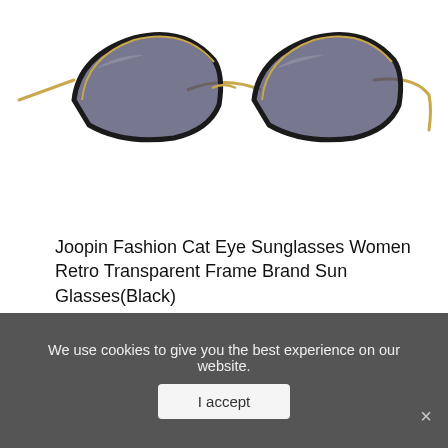[Figure (photo): Cat eye sunglasses with black frames and gold metal arms, gradient gray lenses, product photo on white background]
Joopin Fashion Cat Eye Sunglasses Women Retro Transparent Frame Brand Sun Glasses(Black)
[Figure (photo): Systane Zaditor Twin Pack antihistamine eye drops box (orange/red with green label) and two eye drop bottles]
We use cookies to give you the best experience on our website.
I accept